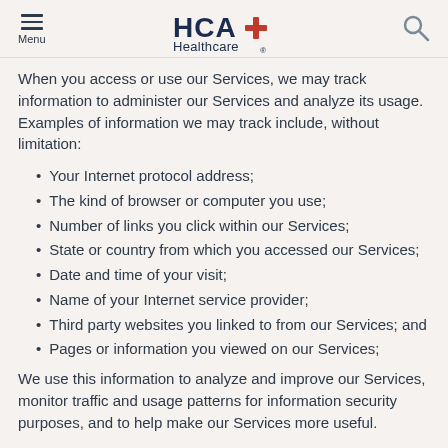HCA Healthcare — Menu / Search header
When you access or use our Services, we may track information to administer our Services and analyze its usage. Examples of information we may track include, without limitation:
Your Internet protocol address;
The kind of browser or computer you use;
Number of links you click within our Services;
State or country from which you accessed our Services;
Date and time of your visit;
Name of your Internet service provider;
Third party websites you linked to from our Services; and
Pages or information you viewed on our Services;
We use this information to analyze and improve our Services, monitor traffic and usage patterns for information security purposes, and to help make our Services more useful.
Cookies and Web Beacons